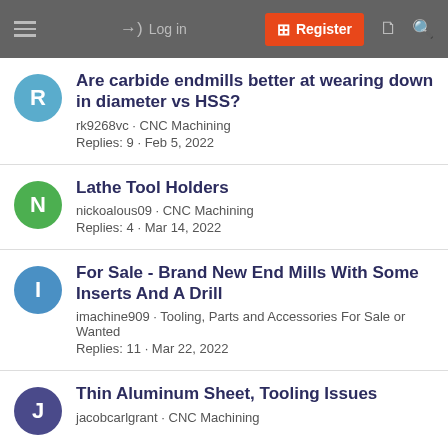≡  →) Log in  ⊞ Register  🗋  🔍
Are carbide endmills better at wearing down in diameter vs HSS?
rk9268vc · CNC Machining
Replies: 9 · Feb 5, 2022
Lathe Tool Holders
nickoalous09 · CNC Machining
Replies: 4 · Mar 14, 2022
For Sale - Brand New End Mills With Some Inserts And A Drill
imachine909 · Tooling, Parts and Accessories For Sale or Wanted
Replies: 11 · Mar 22, 2022
Thin Aluminum Sheet, Tooling Issues
jacobcarlgrant · CNC Machining